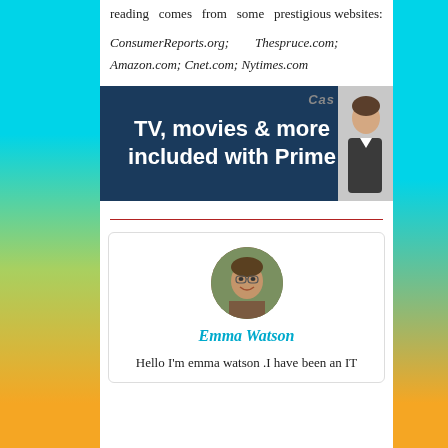reading comes from some prestigious websites:
ConsumerReports.org; Thespruce.com; Amazon.com; Cnet.com; Nytimes.com
[Figure (screenshot): Amazon Prime advertisement banner showing text 'TV, movies & more included with Prime' on dark blue background with partial image of a person on the right side]
Emma Watson
Hello I'm emma watson .I have been an IT